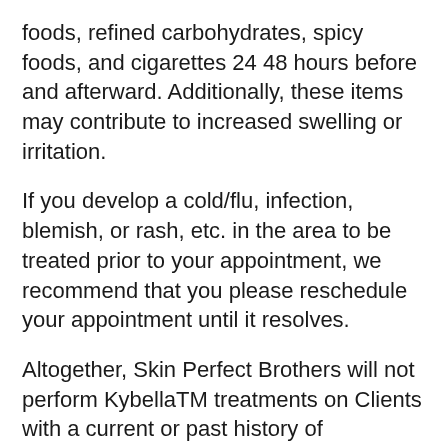foods, refined carbohydrates, spicy foods, and cigarettes 24 48 hours before and afterward. Additionally, these items may contribute to increased swelling or irritation.
If you develop a cold/flu, infection, blemish, or rash, etc. in the area to be treated prior to your appointment, we recommend that you please reschedule your appointment until it resolves.
Altogether, Skin Perfect Brothers will not perform KybellaTM treatments on Clients with a current or past history of Dysphagia, “trouble swallowing”, currently pregnant or breastfeeding, with the presence of infection at or near the injection sites, or under the age of 18.
Basically, Skin Perfect Brothers wi